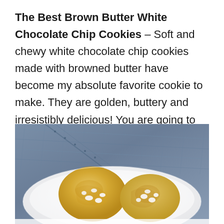The Best Brown Butter White Chocolate Chip Cookies – Soft and chewy white chocolate chip cookies made with browned butter have become my absolute favorite cookie to make. They are golden, buttery and irresistibly delicious! You are going to love them just as much as I do.
[Figure (photo): Close-up photo of golden brown butter white chocolate chip cookies on a white plate, with a blue denim fabric background. Cookie is golden-yellow with white chocolate chips visible on top.]